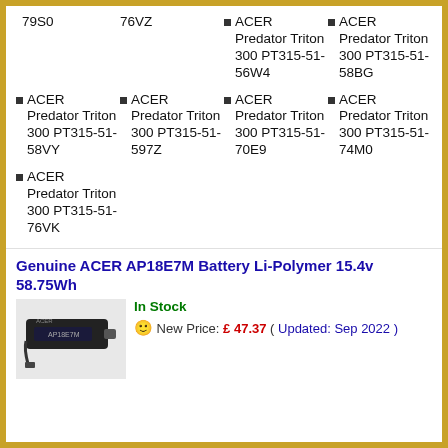79S0
76VZ
ACER Predator Triton 300 PT315-51-56W4
ACER Predator Triton 300 PT315-51-58BG
ACER Predator Triton 300 PT315-51-58VY
ACER Predator Triton 300 PT315-51-597Z
ACER Predator Triton 300 PT315-51-70E9
ACER Predator Triton 300 PT315-51-74M0
ACER Predator Triton 300 PT315-51-76VK
Genuine ACER AP18E7M Battery Li-Polymer 15.4v 58.75Wh
[Figure (photo): Photo of a black laptop battery (ACER AP18E7M)]
In Stock
🙂 New Price: £ 47.37 ( Updated: Sep 2022 )